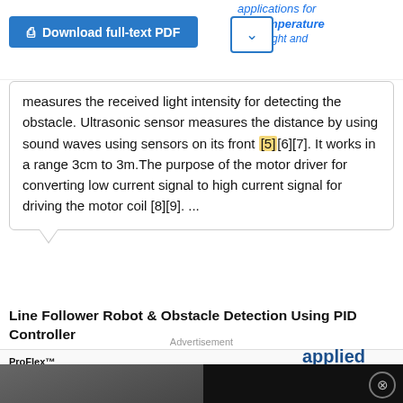[Figure (screenshot): Download full-text PDF button and dropdown chevron button on a white background]
measures the received light intensity for detecting the obstacle. Ultrasonic sensor measures the distance by using sound waves using sensors on its front [5][6][7]. It works in a range 3cm to 3m.The purpose of the motor driver for converting low current signal to high current signal for driving the motor coil [8][9]. ...
Line Follower Robot & Obstacle Detection Using PID Controller
[Figure (screenshot): Embedded video player showing lab equipment with overlay text 'Learn how to best influence lab equipment purchasing behavior' on dark background]
View   Show abstract
Advertisement
[Figure (screenshot): Advertisement banner for ProFlex PCR System by Applied Biosystems - Request a demo]